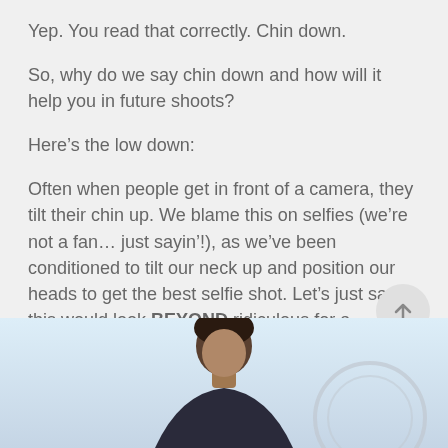Yep. You read that correctly. Chin down.
So, why do we say chin down and how will it help you in future shoots?
Here’s the low down:
Often when people get in front of a camera, they tilt their chin up. We blame this on selfies (we’re not a fan… just sayin’!), as we’ve been conditioned to tilt our neck up and position our heads to get the best selfie shot. Let’s just say, this would look BEYOND ridiculous for a Professional Headshot. So, we say those 2 little words: chin down.
[Figure (photo): Photo of a man in a professional headshot setting, with a circular design element visible on the right side.]